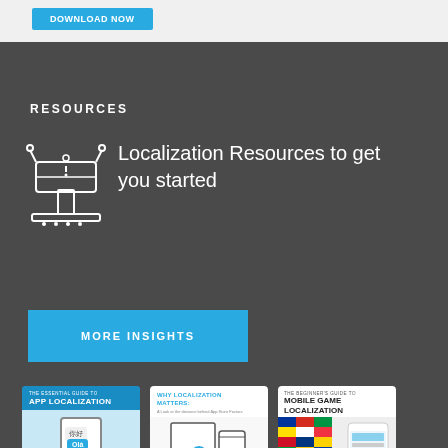RESOURCES
Localization Resources to get you started
[Figure (illustration): White line-art icon of a lectern or podium with a book, on dark background]
MORE INSIGHTS
[Figure (illustration): Three book/guide cover thumbnails: 'The Essential Guide to App Localization', 'Why Localization Matters', 'The Beginner's Guide to Mobile Game Localization']